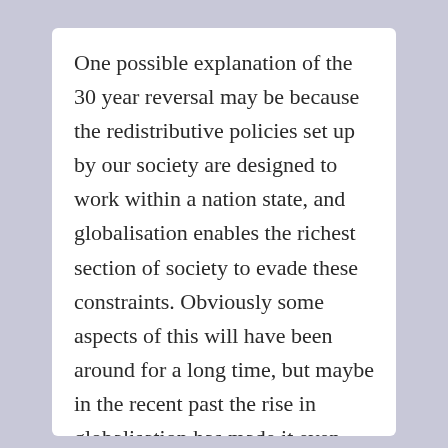One possible explanation of the 30 year reversal may be because the redistributive policies set up by our society are designed to work within a nation state, and globalisation enables the richest section of society to evade these constraints. Obviously some aspects of this will have been around for a long time, but maybe in the recent past the rise in globalisation has made it even easier for the rich to evade the 'dynamics of redistribution' in all its forms. The very rich can therefore become massively rich by exploiting the